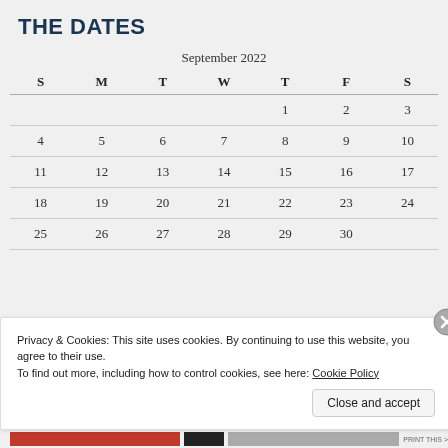THE DATES
| S | M | T | W | T | F | S |
| --- | --- | --- | --- | --- | --- | --- |
|  |  |  |  | 1 | 2 | 3 |
| 4 | 5 | 6 | 7 | 8 | 9 | 10 |
| 11 | 12 | 13 | 14 | 15 | 16 | 17 |
| 18 | 19 | 20 | 21 | 22 | 23 | 24 |
| 25 | 26 | 27 | 28 | 29 | 30 |  |
Privacy & Cookies: This site uses cookies. By continuing to use this website, you agree to their use.
To find out more, including how to control cookies, see here: Cookie Policy
Close and accept